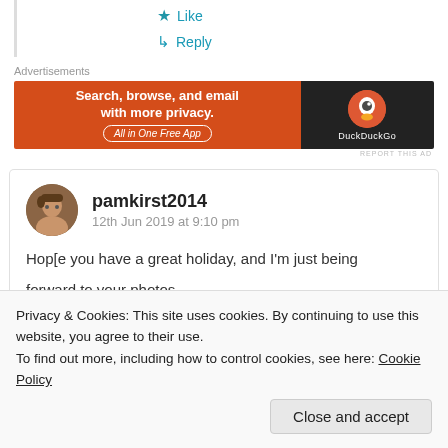★ Like
↳ Reply
Advertisements
[Figure (screenshot): DuckDuckGo advertisement banner: orange left section with text 'Search, browse, and email with more privacy. All in One Free App' and dark right section with DuckDuckGo logo and name.]
REPORT THIS AD
pamkirst2014
12th Jun 2019 at 9:10 pm
Hope you have a great holiday, and I'm just being
forward to your photos.
Privacy & Cookies: This site uses cookies. By continuing to use this website, you agree to their use.
To find out more, including how to control cookies, see here: Cookie Policy
Close and accept